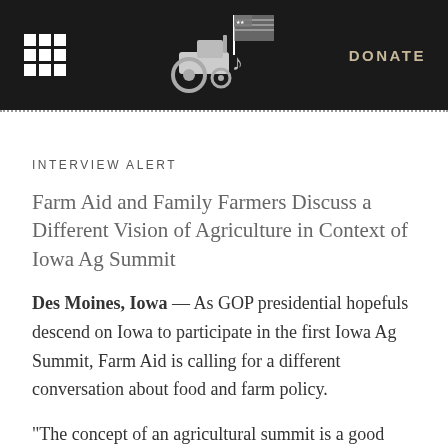DONATE
INTERVIEW ALERT
Farm Aid and Family Farmers Discuss a Different Vision of Agriculture in Context of Iowa Ag Summit
Des Moines, Iowa — As GOP presidential hopefuls descend on Iowa to participate in the first Iowa Ag Summit, Farm Aid is calling for a different conversation about food and farm policy.
“The concept of an agricultural summit is a good